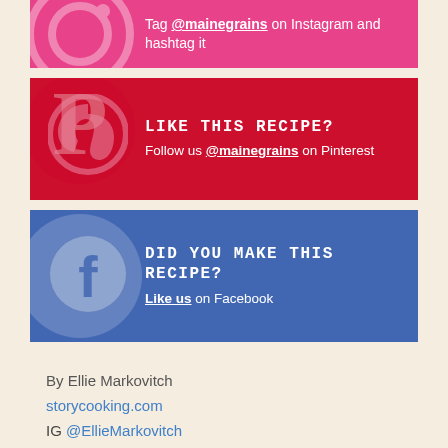[Figure (infographic): Instagram banner: hot pink background with Instagram icon, text 'Tag @mainegrains on Instagram and hashtag it']
[Figure (infographic): Pinterest banner: red background with Pinterest icon, text 'LIKE THIS RECIPE? Follow us @mainegrains on Pinterest']
[Figure (infographic): Facebook banner: blue background with Facebook icon, text 'DID YOU MAKE THIS RECIPE? Like us on Facebook']
By Ellie Markovitch
storycooking.com
IG @EllieMarkovitch